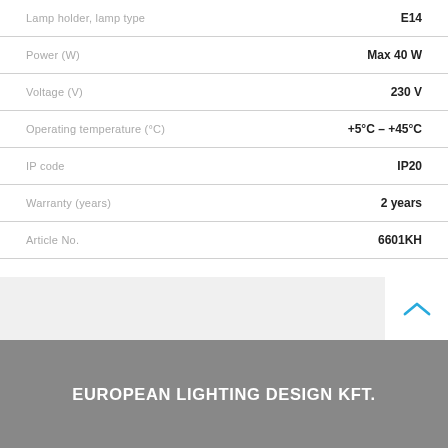| Property | Value |
| --- | --- |
| Lamp holder, lamp type | E14 |
| Power (W) | Max 40 W |
| Voltage (V) | 230 V |
| Operating temperature (°C) | +5°C – +45°C |
| IP code | IP20 |
| Warranty (years) | 2 years |
| Article No. | 6601KH |
EUROPEAN LIGHTING DESIGN KFT.